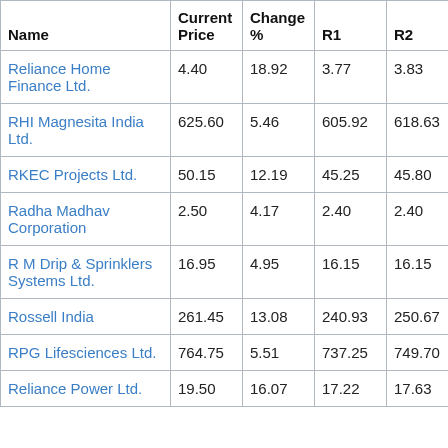| Name | Current Price | Change % | R1 | R2 |
| --- | --- | --- | --- | --- |
| Reliance Home Finance Ltd. | 4.40 | 18.92 | 3.77 | 3.83 |
| RHI Magnesita India Ltd. | 625.60 | 5.46 | 605.92 | 618.63 |
| RKEC Projects Ltd. | 50.15 | 12.19 | 45.25 | 45.80 |
| Radha Madhav Corporation | 2.50 | 4.17 | 2.40 | 2.40 |
| R M Drip & Sprinklers Systems Ltd. | 16.95 | 4.95 | 16.15 | 16.15 |
| Rossell India | 261.45 | 13.08 | 240.93 | 250.67 |
| RPG Lifesciences Ltd. | 764.75 | 5.51 | 737.25 | 749.70 |
| Reliance Power Ltd. | 19.50 | 16.07 | 17.22 | 17.63 |